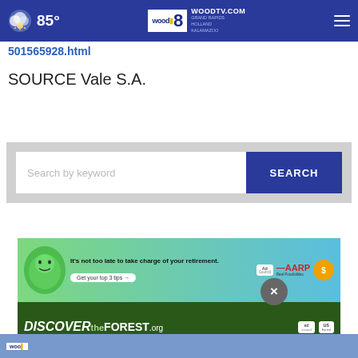85° WOODTV.COM GRAND RAPIDS HOLLAND KALAMAZOO
501565928.html
SOURCE Vale S.A.
[Figure (screenshot): Search bar with 'Search by keyword' placeholder text and blue SEARCH button]
[Figure (screenshot): AARP advertisement: It's not too late to take charge of your retirement. Get your top 3 tips. Ad Council logo.]
[Figure (screenshot): Discover the Forest .org advertisement with Ad Council and US Forest Service logos]